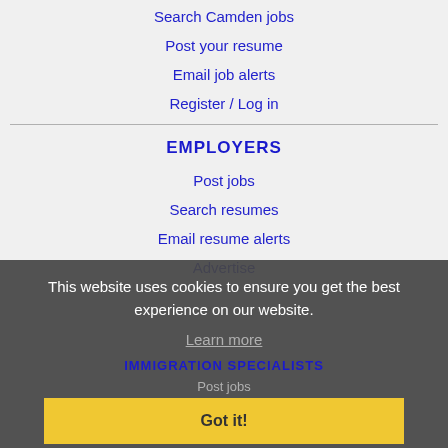Search Camden jobs
Post your resume
Email job alerts
Register / Log in
EMPLOYERS
Post jobs
Search resumes
Email resume alerts
Advertise
This website uses cookies to ensure you get the best experience on our website.
Learn more
IMMIGRATION SPECIALISTS
Got it!
Post jobs
Immigration FAQs
Learn more